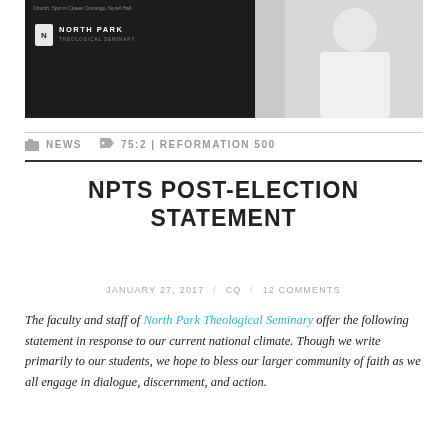[Figure (photo): North Park Theological Seminary banner image with dark left panel showing logo and light right panel with a person in white]
NEWS   75:2 | REFORMATION 500
NPTS POST-ELECTION STATEMENT
JANUARY 27, 2017 / CQ / 12 COMMENTS
The faculty and staff of North Park Theological Seminary offer the following statement in response to our current national climate. Though we write primarily to our students, we hope to bless our larger community of faith as we all engage in dialogue, discernment, and action.